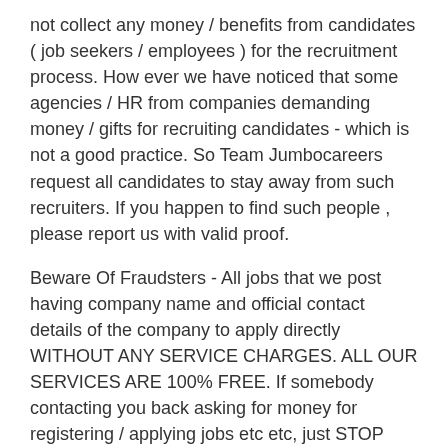not collect any money / benefits from candidates ( job seekers / employees ) for the recruitment process. How ever we have noticed that some agencies / HR from companies demanding money / gifts for recruiting candidates - which is not a good practice. So Team Jumbocareers request all candidates to stay away from such recruiters. If you happen to find such people , please report us with valid proof.
Beware Of Fraudsters - All jobs that we post having company name and official contact details of the company to apply directly WITHOUT ANY SERVICE CHARGES. ALL OUR SERVICES ARE 100% FREE. If somebody contacting you back asking for money for registering / applying jobs etc etc, just STOP COMMUNICATING WITH THOSE KIND OF PEOPLE. Never pay anyone either for job application, interview test, or job interview. A genuine employer will never ask you for the payment in any case.